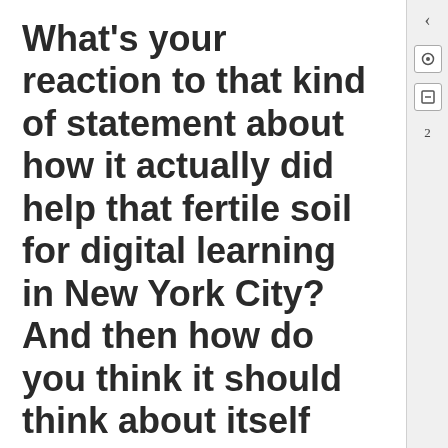What’s your reaction to that kind of statement about how it actually did help that fertile soil for digital learning in New York City? And then how do you think it should think about itself now that many of these things and practices and funding streams are more prevalent?
You know, that’s a really interesting statement. I think part of me agrees.